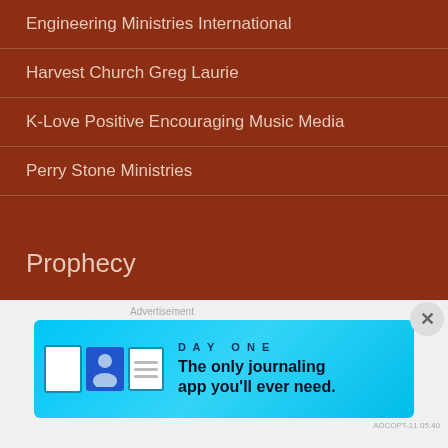Engineering Ministries International
Harvest Church Greg Laurie
K-Love Positive Encouraging Music Media
Perry Stone Ministries
Prophecy
Perry Stone Ministries
Radio Network
K-Love Positive Encouraging Music Media
[Figure (screenshot): Advertisement banner for Day One journaling app with cyan/blue background showing app icons and text 'The only journaling app you'll ever need.']